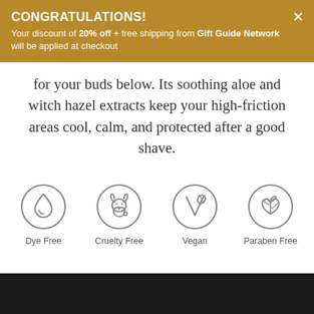CONGRATULATIONS! Your discount of 20% off + free shipping from Gift Guide Network will be applied at checkout
for your buds below. Its soothing aloe and witch hazel extracts keep your high-friction areas cool, calm, and protected after a good shave.
[Figure (illustration): Four circular icons: Dye Free (water drop), Cruelty Free (rabbit), Vegan (leaf/V), Paraben Free (leaves)]
Dye Free   Cruelty Free   Vegan   Paraben Free